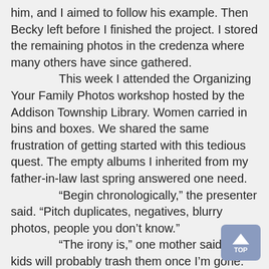him, and I aimed to follow his example. Then Becky left before I finished the project. I stored the remaining photos in the credenza where many others have since gathered.
	This week I attended the Organizing Your Family Photos workshop hosted by the Addison Township Library. Women carried in bins and boxes. We shared the same frustration of getting started with this tedious quest. The empty albums I inherited from my father-in-law last spring answered one need.
	“Begin chronologically,” the presenter said. “Pitch duplicates, negatives, blurry photos, people you don’t know.”
	“The irony is,” one mother said, “my kids will probably trash them once I’m gone.”
	Dear Reader, my youngest may not practice the best table manners, but I’m confident she’ll cherish the evidence of her